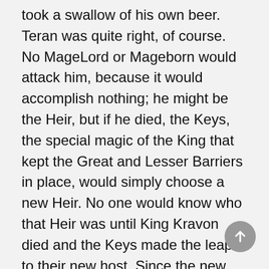took a swallow of his own beer. Teran was quite right, of course. No MageLord or Mageborn would attack him, because it would accomplish nothing; he might be the Heir, but if he died, the Keys, the special magic of the King that kept the Great and Lesser Barriers in place, would simply choose a new Heir. No one would know who that Heir was until King Kravon died and the Keys made the leap to their new host. Since the new Heir would be unknown, no one could influence that person ahead of time. Worse, the new Heir might prove to be an enemy of whoever had arranged the assassination-someone who would then be able to act on that enmity with all the resources of the Kingship once the Keys came to him or her.